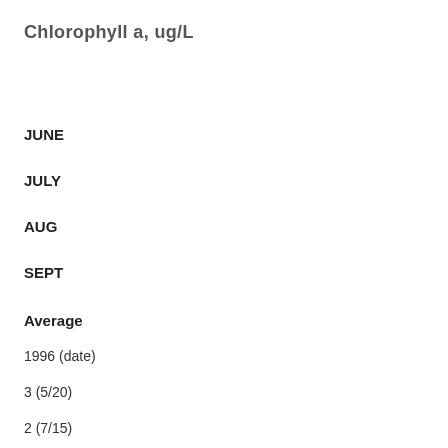Chlorophyll a, ug/L
JUNE
JULY
AUG
SEPT
Average
1996 (date)
3  (5/20)
2  (7/15)